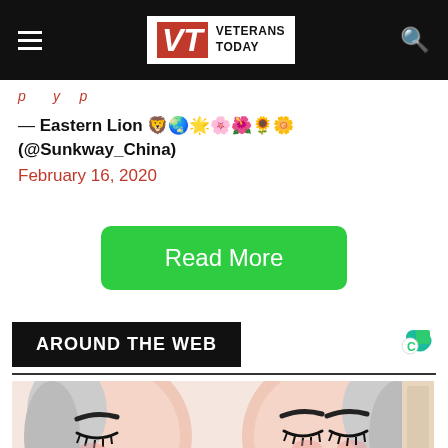Veterans Today
— Eastern Lion 🦁🌏🌟🌸🌺🌻🌼 (@Sunkway_China)
February 16, 2020
Read More
AROUND THE WEB
[Figure (illustration): Anime-style illustration of two faces with closed eyes, pink cheeks, dark eyebrows, one with white/gray hair]